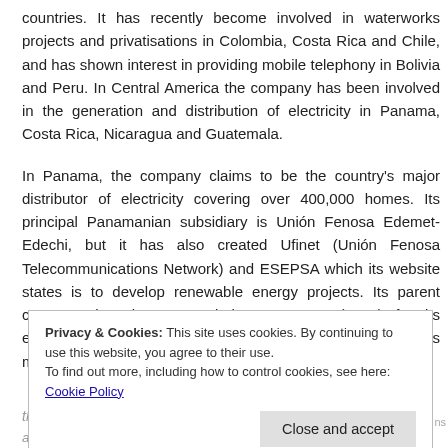countries. It has recently become involved in waterworks projects and privatisations in Colombia, Costa Rica and Chile, and has shown interest in providing mobile telephony in Bolivia and Peru. In Central America the company has been involved in the generation and distribution of electricity in Panama, Costa Rica, Nicaragua and Guatemala.
In Panama, the company claims to be the country's major distributor of electricity covering over 400,000 homes. Its principal Panamanian subsidiary is Unión Fenosa Edemet-Edechi, but it has also created Ufinet (Unión Fenosa Telecommunications Network) and ESEPSA which its website states is to develop renewable energy projects. Its parent company has been awarded ISO 14001 (2004) for its environmental management and ISO 9000 (2000) for its management quality.
Privacy & Cookies: This site uses cookies. By continuing to use this website, you agree to their use.
To find out more, including how to control cookies, see here: Cookie Policy
Close and accept
the Clean Development Mechanism of the Kyoto Protocol with the aim of limiting and reducing the emissions of greenhouse gases